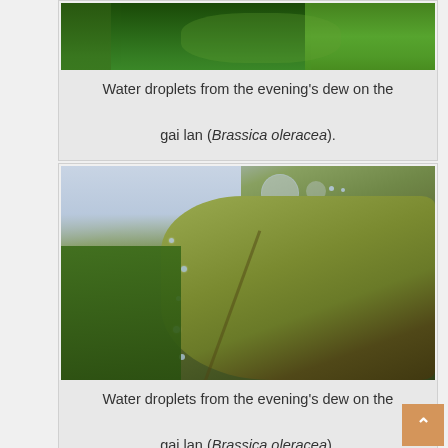[Figure (photo): Close-up photo of green leaves with water droplets, top portion cropped]
Water droplets from the evening’s dew on the gai lan (Brassica oleracea).
[Figure (photo): Close-up macro photo of a yellow-green gai lan leaf with water droplets along the edge, bokeh background]
Water droplets from the evening’s dew on the gai lan (Brassica oleracea).